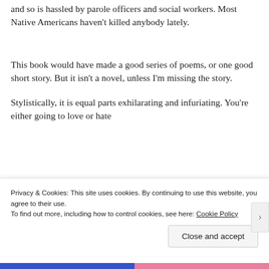and so is hassled by parole officers and social workers. Most Native Americans haven't killed anybody lately.
This book would have made a good series of poems, or one good short story. But it isn't a novel, unless I'm missing the story.
Stylistically, it is equal parts exhilarating and infuriating. You're either going to love or hate
Privacy & Cookies: This site uses cookies. By continuing to use this website, you agree to their use.
To find out more, including how to control cookies, see here: Cookie Policy